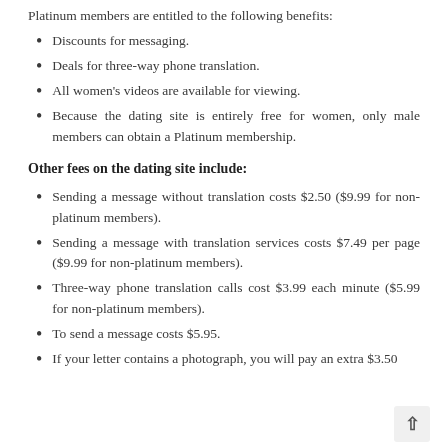Platinum members are entitled to the following benefits:
Discounts for messaging.
Deals for three-way phone translation.
All women's videos are available for viewing.
Because the dating site is entirely free for women, only male members can obtain a Platinum membership.
Other fees on the dating site include:
Sending a message without translation costs $2.50 ($9.99 for non-platinum members).
Sending a message with translation services costs $7.49 per page ($9.99 for non-platinum members).
Three-way phone translation calls cost $3.99 each minute ($5.99 for non-platinum members).
To send a message costs $5.95.
If your letter contains a photograph, you will pay an extra $3.50